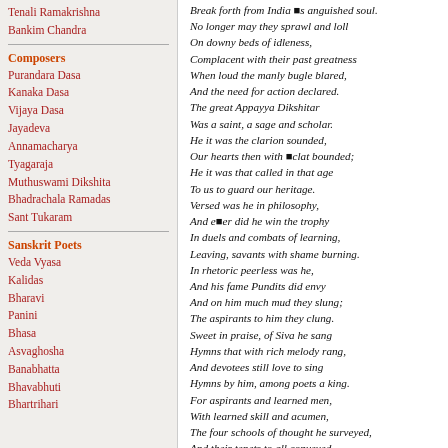Tenali Ramakrishna
Bankim Chandra
Composers
Purandara Dasa
Kanaka Dasa
Vijaya Dasa
Jayadeva
Annamacharya
Tyagaraja
Muthuswami Dikshita
Bhadrachala Ramadas
Sant Tukaram
Sanskrit Poets
Veda Vyasa
Kalidas
Bharavi
Panini
Bhasa
Asvaghosha
Banabhatta
Bhavabhuti
Bhartrihari
Break forth from India■s anguished soul.
No longer may they sprawl and loll
On downy beds of idleness,
Complacent with their past greatness
When loud the manly bugle blared,
And the need for action declared.
The great Appayya Dikshitar
Was a saint, a sage and scholar.
He it was the clarion sounded,
Our hearts then with ■clat bounded;
He it was that called in that age
To us to guard our heritage.
Versed was he in philosophy,
And e■er did he win the trophy
In duels and combats of learning,
Leaving, savants with shame burning.
In rhetoric peerless was he,
And his fame Pundits did envy
And on him much mud they slung;
The aspirants to him they clung.
Sweet in praise, of Siva he sang
Hymns that with rich melody rang,
And devotees still love to sing
Hymns by him, among poets a king.
For aspirants and learned men,
With learned skill and acumen,
The four schools of thought he surveyed,
And their tenets to all conveyed